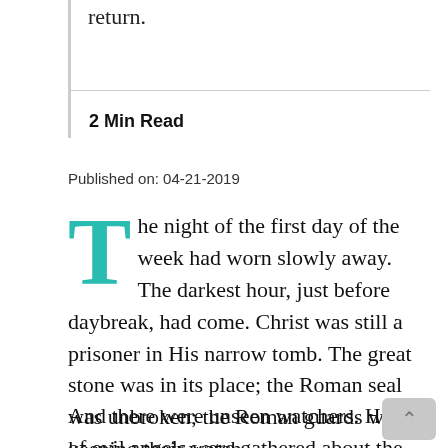return.
2 Min Read
Published on: 04-21-2019
The night of the first day of the week had worn slowly away. The darkest hour, just before daybreak, had come. Christ was still a prisoner in His narrow tomb. The great stone was in its place; the Roman seal was unbroken; the Roman guards were keeping their watch.
And there were unseen watchers. Hosts of evil angels were gathered about the place.